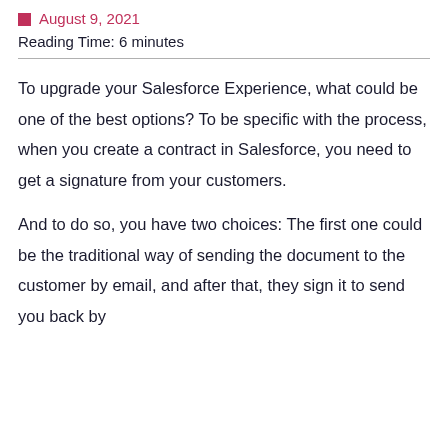August 9, 2021
Reading Time: 6 minutes
To upgrade your Salesforce Experience, what could be one of the best options? To be specific with the process, when you create a contract in Salesforce, you need to get a signature from your customers.
And to do so, you have two choices: The first one could be the traditional way of sending the document to the customer by email, and after that, they sign it to send you back by